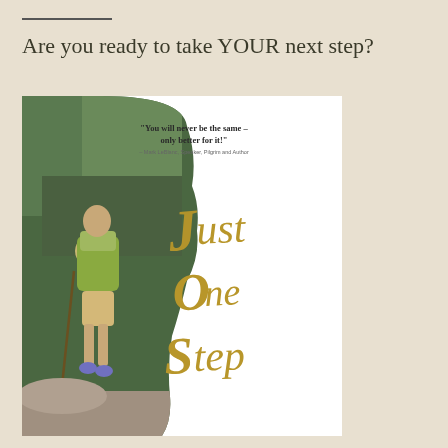Are you ready to take YOUR next step?
[Figure (illustration): Book cover for 'Just One Step' featuring a hiker walking outdoors, with a head silhouette shape overlay, a quote reading 'You will never be the same – only better for it!' attributed to Mark LeBlanc, Speaker, Pilgrim and Author, and large gold script text reading 'Just One Step']